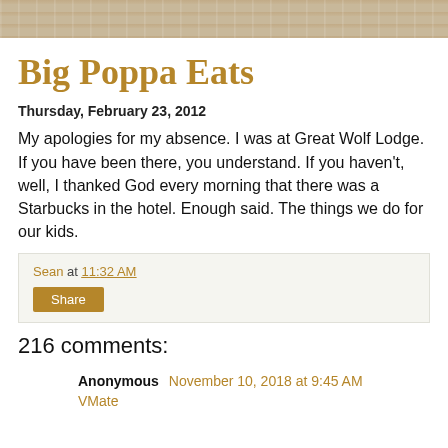[Figure (photo): Wood grain texture header banner]
Big Poppa Eats
Thursday, February 23, 2012
My apologies for my absence. I was at Great Wolf Lodge. If you have been there, you understand. If you haven't, well, I thanked God every morning that there was a Starbucks in the hotel. Enough said. The things we do for our kids.
Sean at 11:32 AM
Share
216 comments:
Anonymous November 10, 2018 at 9:45 AM
VMate